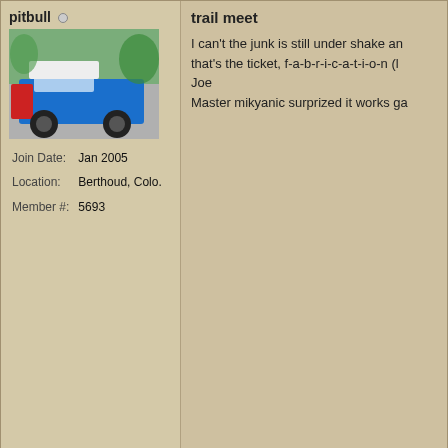pitbull (online indicator)
[Figure (photo): Blue Jeep CJ with open door parked on a street with trees in background]
Join Date: Jan 2005
Location: Berthoud, Colo.
Member #: 5693
trail meet
I can't the junk is still under shake an that's the ticket, f-a-b-r-i-c-a-t-i-o-n (l Joe
Master mikyanic surprized it works ga
April 20th, 2006, 01:27 PM
jdogg4 (online indicator)
[Figure (photo): Profile avatar showing a person holding a REDNECK sign/banner]
Join Date: Jun 2003
Location: Evans/Greeley
Member #: 2312
Images: 51
Originally Posted by JeepGi
Same here.
jdogg - do you really want to know wha probably better than anything you can describing the scrumptuous free Coke is the perfect chewing size and the Co sweetness to it.
Wow that's gotta be one heck of a co
Sorry jenn I just had to it was one of